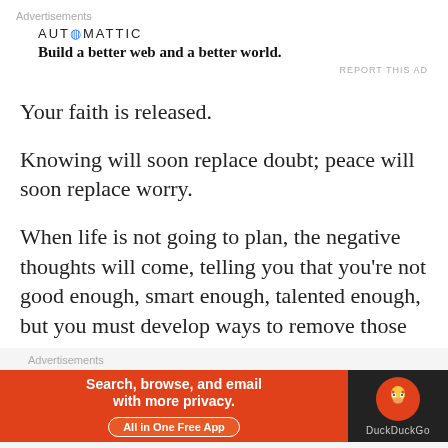Advertisements
[Figure (other): Automattic advertisement: logo text 'AUTOMATTIC' with blue circle dot, tagline 'Build a better web and a better world.']
REPORT THIS AD
Your faith is released.
Knowing will soon replace doubt; peace will soon replace worry.
When life is not going to plan, the negative thoughts will come, telling you that you're not good enough, smart enough, talented enough, but you must develop ways to remove those limiting thoughts and replace them with ideas that will give you strength to
Advertisements
[Figure (other): DuckDuckGo advertisement banner: orange background with text 'Search, browse, and email with more privacy. All in One Free App' and DuckDuckGo duck logo on dark background]